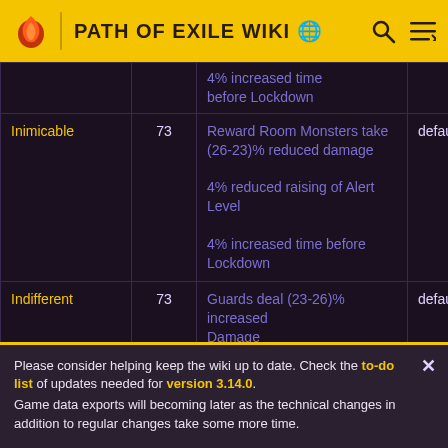PATH OF EXILE WIKI
| Name | Level | Effect | Weight |
| --- | --- | --- | --- |
|  |  | 4% increased time before Lockdown |  |
| Inimicable | 73 | Reward Room Monsters take (26-23)% reduced damage
4% reduced raising of Alert Level
4% increased time before Lockdown | default 1000 |
| Indifferent | 73 | Guards deal (23-26)% increased Damage | default 1000 |
Please consider helping keep the wiki up to date. Check the to-do list of updates needed for version 3.14.0. Game data exports will becoming later as the technical changes in addition to regular changes take some more time.